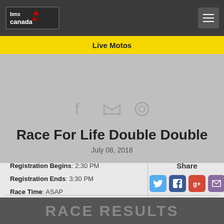BMX Canada
Live Motos
Race For Life Double Double
July 08, 2018
Registration Begins: 2:30 PM
Registration Ends: 3:30 PM
Race Time: ASAP
Entry Fee: $20.00 CAD
There is no description for this race.
Share
Add To Calendar
RACE RESULTS